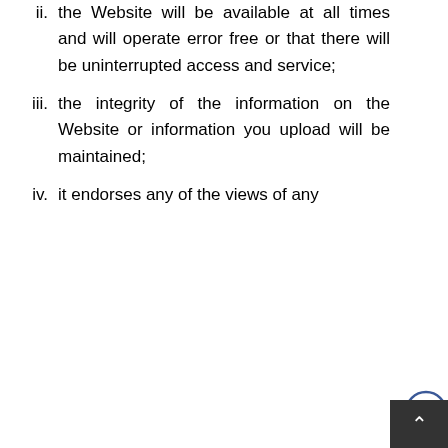ii. the Website will be available at all times and will operate error free or that there will be uninterrupted access and service;
iii. the integrity of the information on the Website or information you upload will be maintained;
iv. it endorses any of the views of any